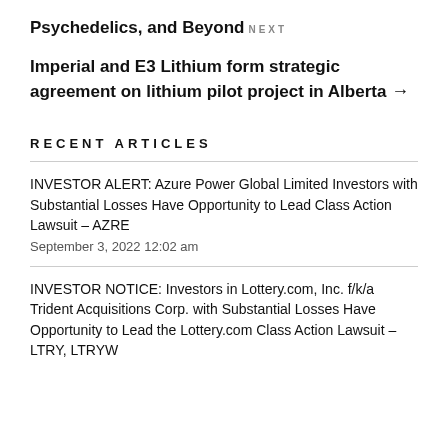Psychedelics, and Beyond
NEXT
Imperial and E3 Lithium form strategic agreement on lithium pilot project in Alberta →
RECENT ARTICLES
INVESTOR ALERT: Azure Power Global Limited Investors with Substantial Losses Have Opportunity to Lead Class Action Lawsuit – AZRE
September 3, 2022 12:02 am
INVESTOR NOTICE: Investors in Lottery.com, Inc. f/k/a Trident Acquisitions Corp. with Substantial Losses Have Opportunity to Lead the Lottery.com Class Action Lawsuit – LTRY, LTRYW